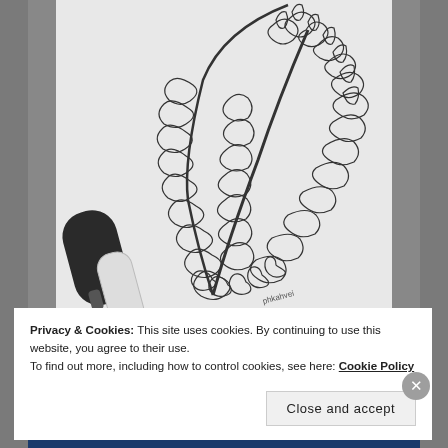[Figure (photo): A detailed black and white illustration of an ornate feather made of intricate Thai-style floral and scroll patterns, drawn on white paper. A black marker pen and a white correction pen are visible at the bottom left. A small label reading 'phkahvei' or similar is visible near the bottom center.]
Privacy & Cookies: This site uses cookies. By continuing to use this website, you agree to their use.
To find out more, including how to control cookies, see here: Cookie Policy
Close and accept